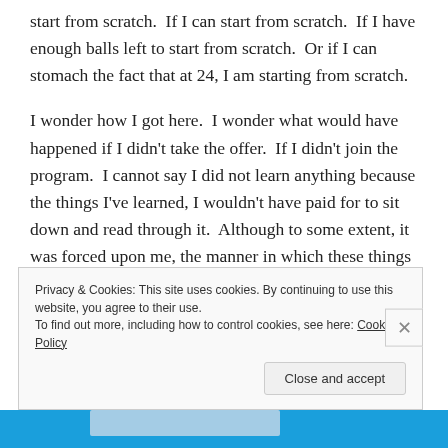start from scratch.  If I can start from scratch.  If I have enough balls left to start from scratch.  Or if I can stomach the fact that at 24, I am starting from scratch.
I wonder how I got here.  I wonder what would have happened if I didn't take the offer.  If I didn't join the program.  I cannot say I did not learn anything because the things I've learned, I wouldn't have paid for to sit down and read through it.  Although to some extent, it was forced upon me, the manner in which these things support the institution made me like them.  Ugh.
Privacy & Cookies: This site uses cookies. By continuing to use this website, you agree to their use.
To find out more, including how to control cookies, see here: Cookie Policy